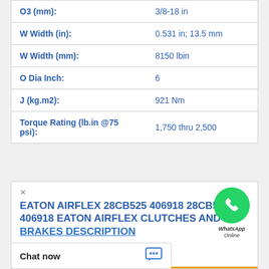| Property | Value |
| --- | --- |
| O3 (mm): | 3/8-18 in |
| W Width (in): | 0.531 in; 13.5 mm |
| W Width (mm): | 8150 lbin |
| O Dia Inch: | 6 |
| J (kg.m2): | 921 Nm |
| Torque Rating (lb.in @75 psi): | 1,750 thru 2,500 |
[Figure (logo): WhatsApp green circle icon with phone handset, labeled WhatsApp Online]
× EATON AIRFLEX 28CB525 406918 28CB525 406918 EATON AIRFLEX CLUTCHES AND BRAKES DESCRIPTION
Chat now